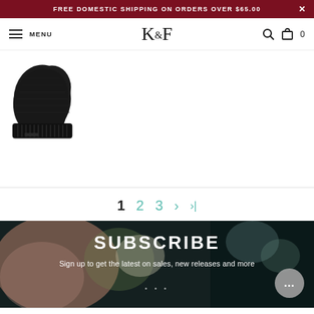FREE DOMESTIC SHIPPING ON ORDERS OVER $65.00
K&F MENU (navigation bar with search and cart icons, cart count: 0)
[Figure (photo): Black knit slouch beanie hat product photo on white background]
1  2  3  >  >| (pagination controls)
SUBSCRIBE
Sign up to get the latest on sales, new releases and more
...
Email input bar